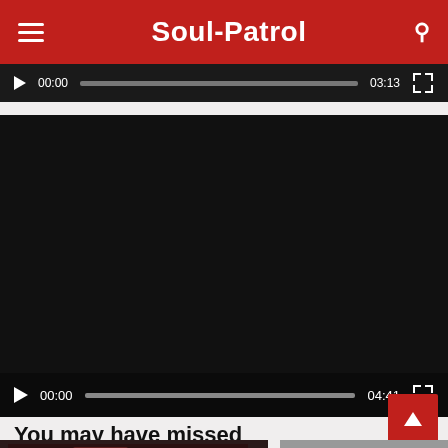Soul-Patrol
[Figure (screenshot): Video player (top, partial) showing play button, timestamp 00:00, progress bar, duration 03:13, and fullscreen button on dark background]
[Figure (screenshot): Video player with black content area and controls bar showing play button, timestamp 00:00, progress bar, duration 04:41, and fullscreen button]
You may have missed
[Figure (photo): Partial thumbnail image of Memphis-related content on the left side]
[Figure (photo): Partial thumbnail showing a black and white group photo of people on the right side]